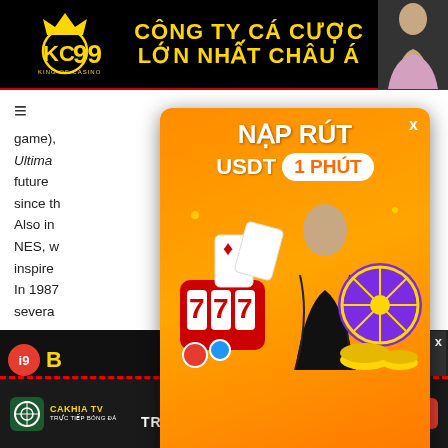[Figure (advertisement): KC99 top banner advertisement - black background with gold text 'CÔNG TY CÁ CƯỢC LỚN NHẤT CHÂU Á' and KC99 logo]
game), RPGs Ultima late for future leased since th Also in for the NES, w self did inspire In 1987 lease of severa uishing
[Figure (advertisement): Orange popup advertisement for online casino with text NẠP RÚT USDT 1 PHÚT and Bitcasino.io branding, featuring a woman and casino graphics]
[Figure (advertisement): i9 BET small advertisement banner on bottom left]
[Figure (advertisement): Small right-side advertisement with woman photo]
[Figure (advertisement): Cakhia TV bottom banner - TRỰC TIẾP BÓNG ĐÁ with XEM NGAY button]